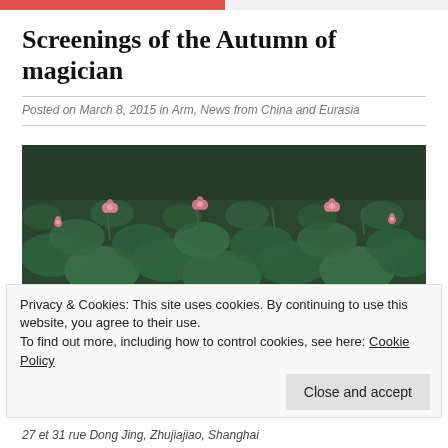Screenings of the Autumn of magician
Posted on March 8, 2015 in Arm, News from China and Eurasia
[Figure (photo): Lotus pond with large green lily pads and pink lotus flowers blooming]
Privacy & Cookies: This site uses cookies. By continuing to use this website, you agree to their use.
To find out more, including how to control cookies, see here: Cookie Policy
Close and accept
27 et 31 rue Dong Jing, Zhujiajiao, Shanghai